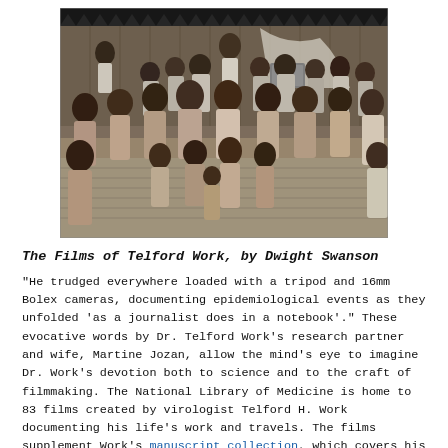[Figure (photo): Black and white photograph of a large group of people, adults and children, sitting on the floor inside a thatched-roof building, appearing to watch something off-camera. The scene looks like a community gathering in a Pacific island setting.]
The Films of Telford Work, by Dwight Swanson
"He trudged everywhere loaded with a tripod and 16mm Bolex cameras, documenting epidemiological events as they unfolded 'as a journalist does in a notebook'." These evocative words by Dr. Telford Work's research partner and wife, Martine Jozan, allow the mind's eye to imagine Dr. Work's devotion both to science and to the craft of filmmaking. The National Library of Medicine is home to 83 films created by virologist Telford H. Work documenting his life's work and travels. The films supplement Work's manuscript collection, which covers his education, career, hobbies, and achievements.